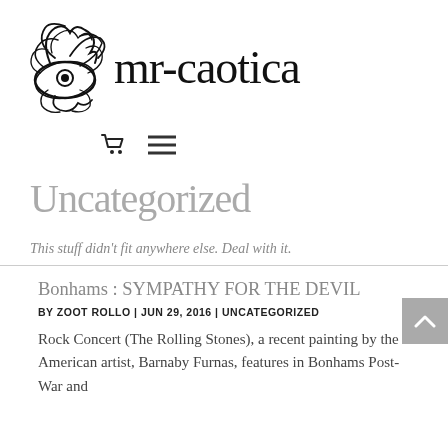[Figure (logo): mr-caotica logo: chaotic scribble drawing on the left with the text 'mr-caotica' in large serif font on the right]
[Figure (other): Navigation icons: shopping cart icon and hamburger menu icon]
Uncategorized
This stuff didn't fit anywhere else. Deal with it.
Bonhams : SYMPATHY FOR THE DEVIL
BY ZOOT ROLLO | JUN 29, 2016 | UNCATEGORIZED
Rock Concert (The Rolling Stones), a recent painting by the American artist, Barnaby Furnas, features in Bonhams Post-War and